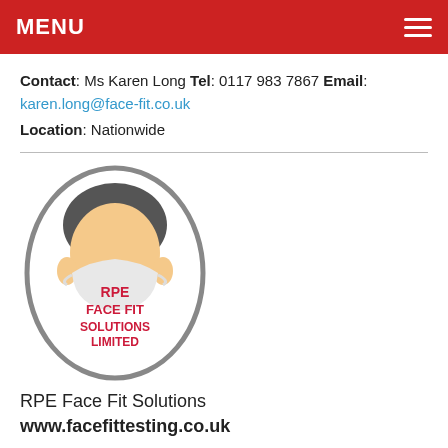MENU
Contact: Ms Karen Long Tel: 0117 983 7867 Email: karen.long@face-fit.co.uk
Location: Nationwide
[Figure (logo): RPE Face Fit Solutions Limited logo: oval outline containing an illustrated person wearing a face mask/respirator with text 'RPE FACE FIT SOLUTIONS LIMITED' in red bold letters]
RPE Face Fit Solutions
www.facefittesting.co.uk